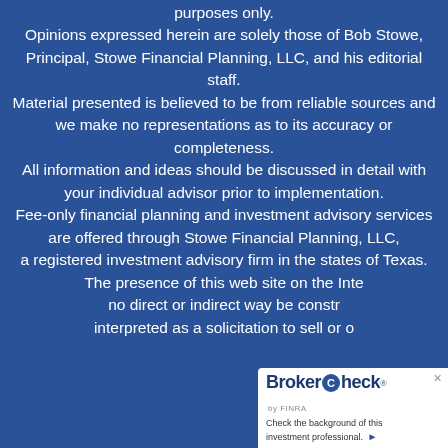purposes only. Opinions expressed herein are solely those of Bob Stowe, Principal, Stowe Financial Planning, LLC, and his editorial staff. Material presented is believed to be from reliable sources and we make no representations as to its accuracy or completeness. All information and ideas should be discussed in detail with your individual advisor prior to implementation. Fee-only financial planning and investment advisory services are offered through Stowe Financial Planning, LLC, a registered investment advisory firm in the states of Texas. The presence of this web site on the Inte[rnet] no direct or indirect way be constr[ued] interpreted as a solicitation to sell or o[ffer]
[Figure (logo): BrokerCheck by FINRA widget — white box in bottom-right corner with 'BrokerCheck' logo and text 'Check the background of this investment professional.' with a right arrow.]